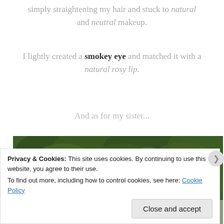simply straightening my hair and stuck to natural and neutral makeup.
I lightly created a smokey eye and matched it with a natural rosy lip.
And as for my sister...
[Figure (photo): A woman in a black and red graduation gown standing outdoors in front of green hedges/trees]
Privacy & Cookies: This site uses cookies. By continuing to use this website, you agree to their use. To find out more, including how to control cookies, see here: Cookie Policy
Close and accept